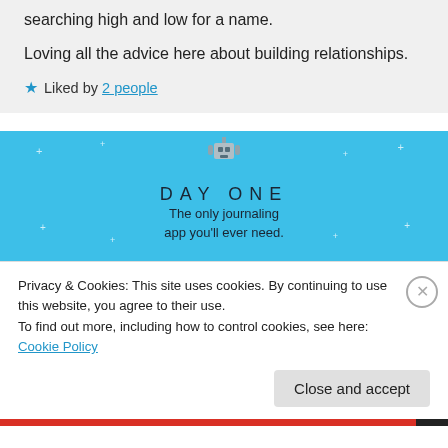searching high and low for a name.

Loving all the advice here about building relationships.
★ Liked by 2 people
[Figure (illustration): Day One journaling app advertisement banner with blue background, sparkle decorations, robot/character illustration at top, text DAY ONE and The only journaling app you'll ever need.]
Privacy & Cookies: This site uses cookies. By continuing to use this website, you agree to their use.
To find out more, including how to control cookies, see here: Cookie Policy
Close and accept